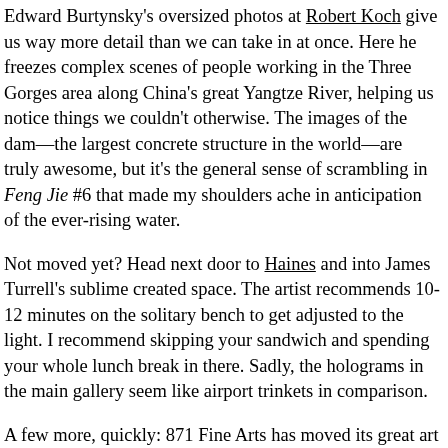Edward Burtynsky's oversized photos at Robert Koch give us way more detail than we can take in at once. Here he freezes complex scenes of people working in the Three Gorges area along China's great Yangtze River, helping us notice things we couldn't otherwise. The images of the dam—the largest concrete structure in the world—are truly awesome, but it's the general sense of scrambling in Feng Jie #6 that made my shoulders ache in anticipation of the ever-rising water.
Not moved yet? Head next door to Haines and into James Turrell's sublime created space. The artist recommends 10-12 minutes on the solitary bench to get adjusted to the light. I recommend skipping your sandwich and spending your whole lunch break in there. Sadly, the holograms in the main gallery seem like airport trinkets in comparison.
A few more, quickly: 871 Fine Arts has moved its great art book store to the 2nd floor; Markus Linnenbrink's dripping technicolor paintings at Patricia Sweetow feel like jazzed LA paintings with meaning; Timothy Cummings once again puts his all (including his face) into a large body of work at Catherine Clark; Ulrike Palmbach's sewn cow is contentedly grazing in the back room at Steven Wirtz; and across the